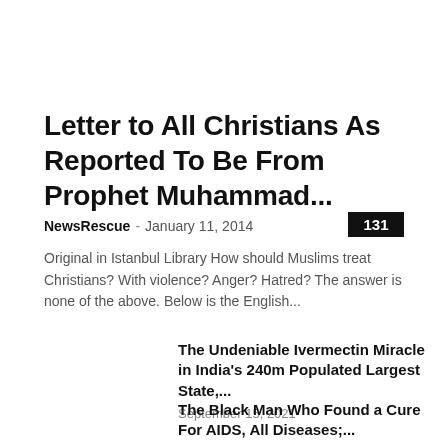Letter to All Christians As Reported To Be From Prophet Muhammad...
NewsRescue - January 11, 2014  131
Original in Istanbul Library How should Muslims treat Christians? With violence? Anger? Hatred?  The answer is none of the above. Below is the English...
The Undeniable Ivermectin Miracle in India's 240m Populated Largest State,...
September 15, 2021
The Black Man Who Found a Cure For AIDS, All Diseases;...
August 5, 2015